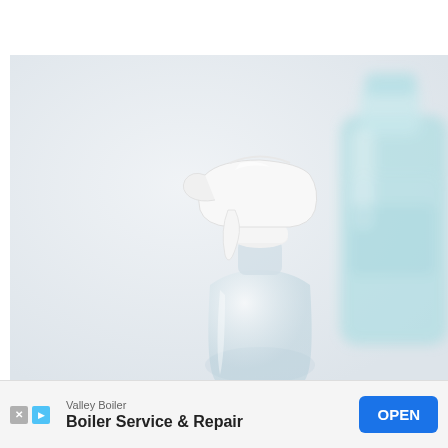[Figure (photo): Close-up photo of a clear plastic spray bottle with a white trigger nozzle mechanism in the foreground, and a blurred teal/mint glass bottle in the background, both on a light grey-white background.]
Valley Boiler
Boiler Service & Repair
OPEN